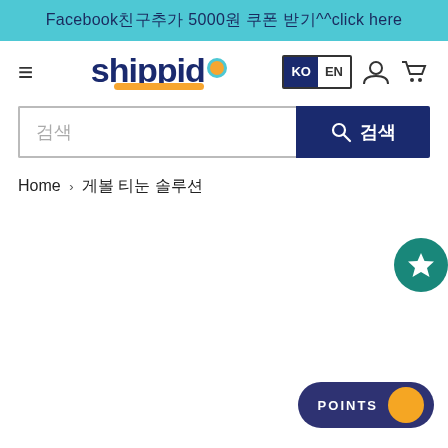Facebook친구추가 5000원 쿠폰 받기^^click here
[Figure (logo): Shippid logo with orange dot and orange arc underline]
KO EN
검색
검색
Home › 게볼 티눈 솔루션
[Figure (other): Teal circular floating star/bookmark button on right edge]
[Figure (other): Dark blue POINTS pill button with orange circle, bottom right]